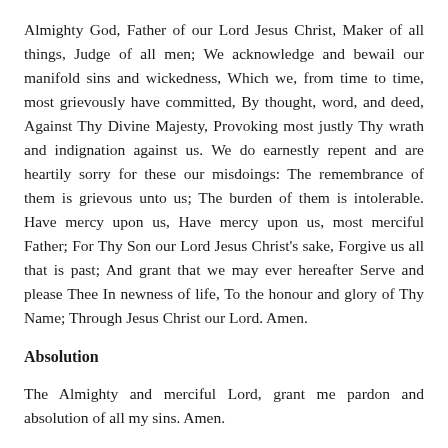Almighty God, Father of our Lord Jesus Christ, Maker of all things, Judge of all men; We acknowledge and bewail our manifold sins and wickedness, Which we, from time to time, most grievously have committed, By thought, word, and deed, Against Thy Divine Majesty, Provoking most justly Thy wrath and indignation against us. We do earnestly repent and are heartily sorry for these our misdoings: The remembrance of them is grievous unto us; The burden of them is intolerable. Have mercy upon us, Have mercy upon us, most merciful Father; For Thy Son our Lord Jesus Christ's sake, Forgive us all that is past; And grant that we may ever hereafter Serve and please Thee In newness of life, To the honour and glory of Thy Name; Through Jesus Christ our Lord. Amen.
Absolution
The Almighty and merciful Lord, grant me pardon and absolution of all my sins. Amen.